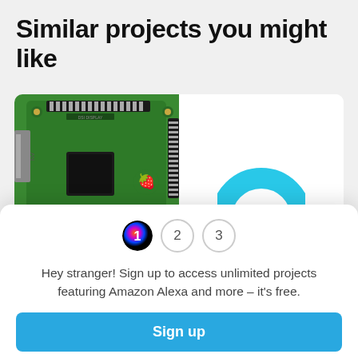Similar projects you might like
[Figure (photo): Raspberry Pi compute module or similar green PCB board photographed from above, showing GPIO pins, processor chip, and Raspberry Pi logo]
[Figure (illustration): Partial view of a cyan/blue circular arc logo, likely Amazon Alexa or similar smart assistant icon]
Hey stranger! Sign up to access unlimited projects featuring Amazon Alexa and more – it's free.
Sign up
Not now
Edison: Nightlight Lantern Po...